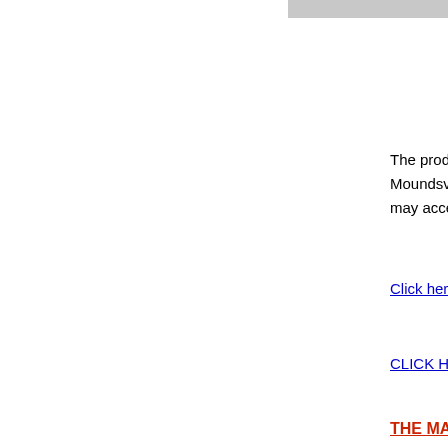The products from the MARX TOY COMPANY, Moundsville,W.V., mailed an original BIG WH... may access the original MARX commercial a...
Click here to see our latest and greatest toys...
CLICK HERE TO SEE THE LATEST IN MA...
THE MARX TOY MUSEUM IN ERIE, PENN...
Click on the McDonalds to find o...
[Figure (photo): Partial view of a McDonalds restaurant exterior showing menu boards and signage with red and green colors]